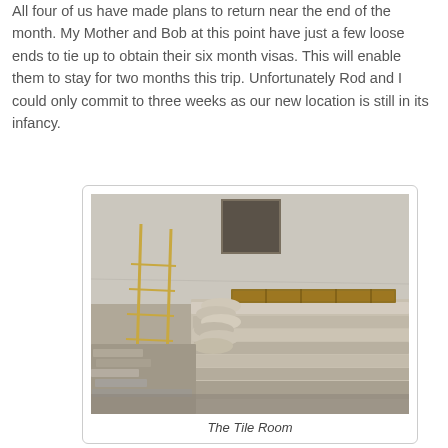All four of us have made plans to return near the end of the month. My Mother and Bob at this point have just a few loose ends to tie up to obtain their six month visas. This will enable them to stay for two months this trip. Unfortunately Rod and I could only commit to three weeks as our new location is still in its infancy.
[Figure (photo): Interior room filled with stacked stone tiles and slabs on the floor, with wooden shelving or planks resting on the stacks, bamboo/metal scaffolding visible on the left, whitewashed rough walls in the background. A window opening is visible near the top center.]
The Tile Room